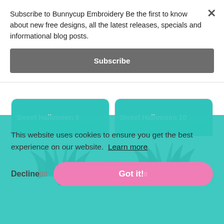Subscribe to Bunnycup Embroidery Be the first to know about new free designs, all the latest releases, specials and informational blog posts.
Subscribe
[Figure (screenshot): Close button X in top right of subscribe popup]
Sweet Halloween 9
[Figure (illustration): Bat wing illustration for Sweet Halloween 9 embroidery design]
Sweet Halloween 10
[Figure (illustration): Bat wing illustration for Sweet Halloween 10 embroidery design]
This website uses cookies to ensure you get the best experience on our website. Learn more
Decline
Got it!